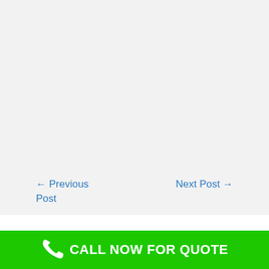← Previous Post
Next Post →
CALL NOW FOR QUOTE